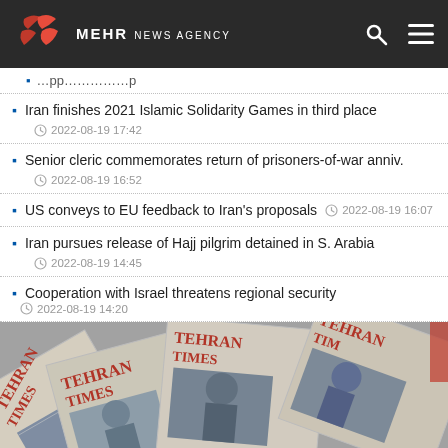MEHR NEWS AGENCY
Iran finishes 2021 Islamic Solidarity Games in third place
Senior cleric commemorates return of prisoners-of-war anniv.
US conveys to EU feedback to Iran's proposals
Iran pursues release of Hajj pilgrim detained in S. Arabia
Cooperation with Israel threatens regional security
[Figure (photo): Collage of Tehran Times newspaper front pages with photos of people]